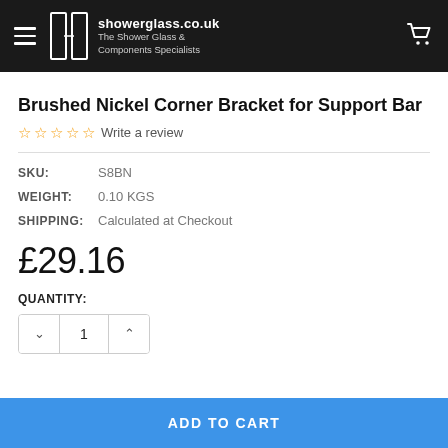showerglass.co.uk — The Shower Glass & Components Specialists
Brushed Nickel Corner Bracket for Support Bar
☆☆☆☆☆ Write a review
SKU: S8BN
WEIGHT: 0.10 KGS
SHIPPING: Calculated at Checkout
£29.16
QUANTITY: 1
ADD TO CART